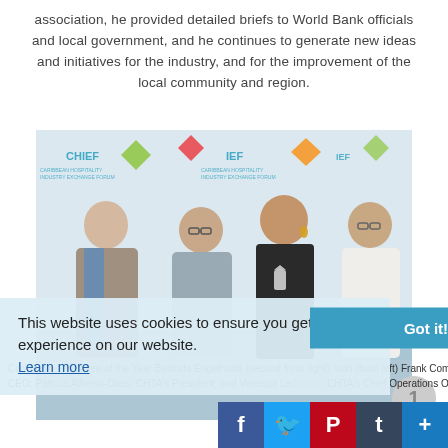association, he provided detailed briefs to World Bank officials and local government, and he continues to generate new ideas and initiatives for the industry, and for the improvement of the local community and region.
[Figure (photo): Group photo of four people at a CHIEF (Caribbean Hospitality Industry Exchange Forum) event backdrop. Left to right: an older man in a grey blazer, a woman with glasses in a grey top, a woman in black holding a trophy, and a woman in a white blazer.]
This website uses cookies to ensure you get the best experience on our website. Learn more  Got it!
Caribbean Employee of the Year Berlinda Engelhardt (second from right), with (from left) Frank Comito, CHTA's Director General and CEO; Patricia Alfonso-Dass, CHTA's President; and Vanessa Ledesma, CHTA's Chief Operations Officer.